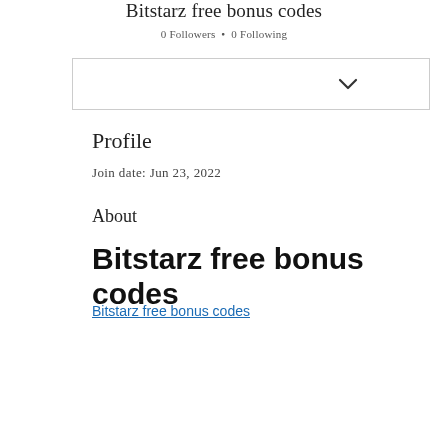Bitstarz free bonus codes
0 Followers • 0 Following
Profile
Join date: Jun 23, 2022
About
Bitstarz free bonus codes
Bitstarz free bonus codes
[Figure (photo): Blurred promotional image with colorful background and out-of-focus figures]